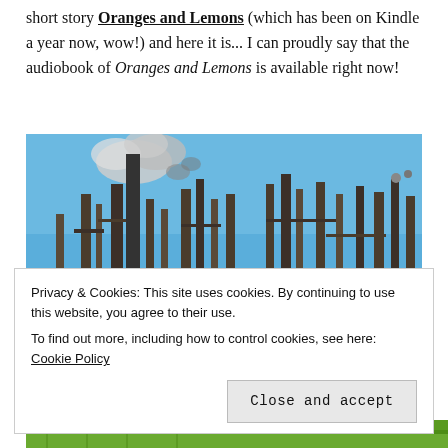short story Oranges and Lemons (which has been on Kindle a year now, wow!) and here it is... I can proudly say that the audiobook of Oranges and Lemons is available right now!
[Figure (photo): Industrial refinery with tall smokestacks and smoke billowing against a blue sky. Large text 'ORANGES' visible at the bottom of the image.]
Privacy & Cookies: This site uses cookies. By continuing to use this website, you agree to their use.
To find out more, including how to control cookies, see here: Cookie Policy
Close and accept